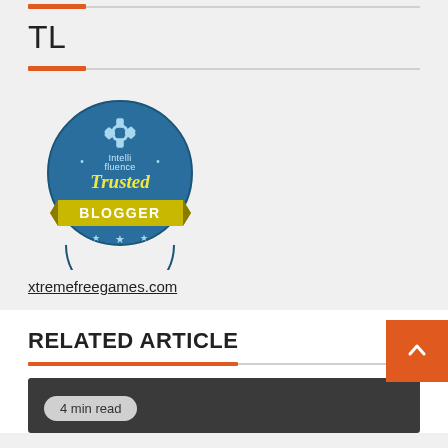TL
[Figure (logo): Intellifluence Trusted Blogger badge — circular blue badge with gear icon and yellow ribbon banner reading BLOGGER]
xtremefreegames.com
RELATED ARTICLE
4 min read